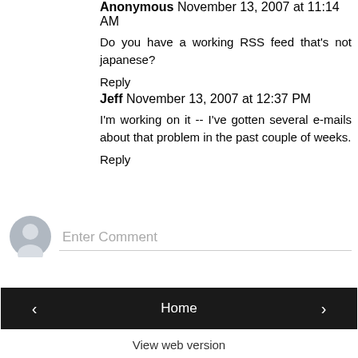Anonymous November 13, 2007 at 11:14 AM
Do you have a working RSS feed that's not japanese?
Reply
Jeff November 13, 2007 at 12:37 PM
I'm working on it -- I've gotten several e-mails about that problem in the past couple of weeks.
Reply
[Figure (other): Comment input area with avatar icon and Enter Comment placeholder text]
Home
View web version
Powered by Blogger.